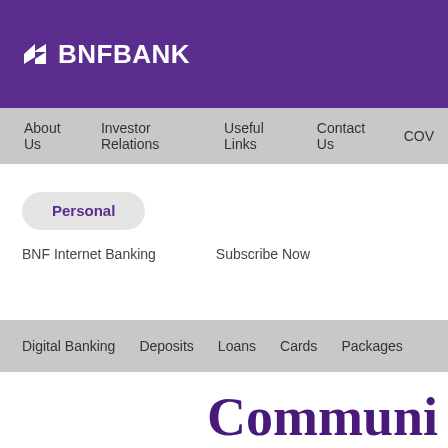BNF BANK
About Us  Investor Relations  Useful Links  Contact Us  COV
Personal
BNF Internet Banking    Subscribe Now
Digital Banking  Deposits  Loans  Cards  Packages
Communi Way